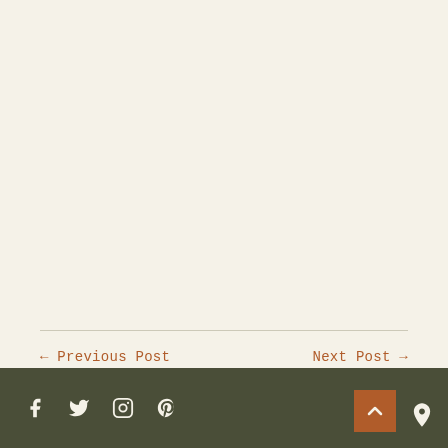← Previous Post
Next Post →
12 THOUGHTS ON "DEAR MISS ALLEN"
LINDSEY
OCTOBER 9, 2013 AT 10:38 AM
Social icons: Facebook, Twitter, Instagram, Pinterest. Back to top button. Map icon.